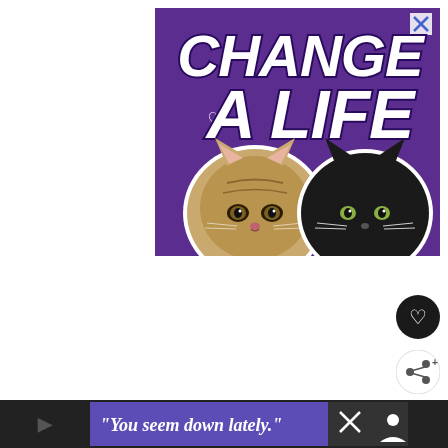[Figure (illustration): Advertisement banner with purple background showing two cat faces (a tabby and a black cat) and large bold white text reading 'CHANGE A LIFE' with a heart outline icon. Small X close button in top right corner.]
[Figure (illustration): Second advertisement banner at the bottom with dark/black background on the right side and blue/purple background on the left showing white italic text: '"You seem down lately."' with an X close button and a person icon on the right.]